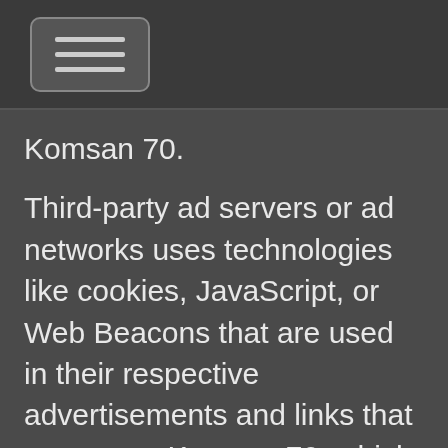[hamburger menu button]
Komsan 70.
Third-party ad servers or ad networks uses technologies like cookies, JavaScript, or Web Beacons that are used in their respective advertisements and links that appear on Komsan 70, which are sent directly to users' browser. They automatically receive your IP address when this occurs. These technologies are used to measure the effectiveness of